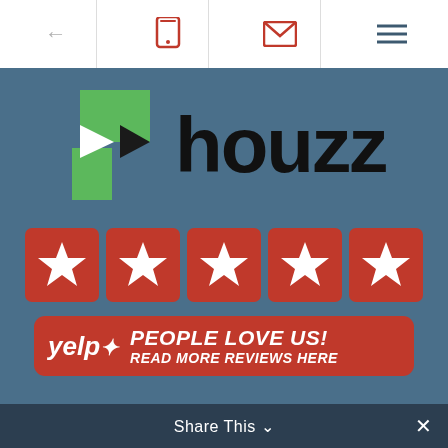← [phone icon] [mail icon] [menu icon]
[Figure (logo): Houzz logo with green geometric icon and black 'houzz' wordmark on blue-gray background]
[Figure (infographic): Five red star rating boxes with white stars, followed by a Yelp 'People Love Us! Read More Reviews Here' red banner with Yelp logo]
Share This ∨